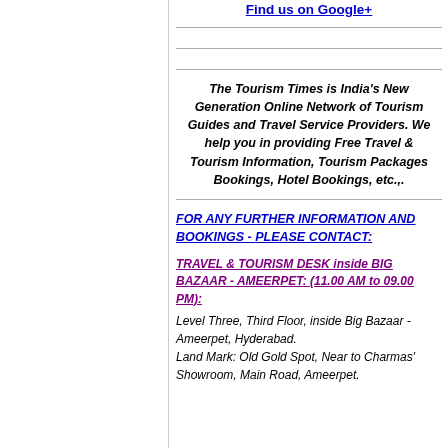Find us on Google+
The Tourism Times is India's New Generation Online Network of Tourism Guides and Travel Service Providers. We help you in providing Free Travel & Tourism Information, Tourism Packages Bookings, Hotel Bookings, etc.,.
FOR ANY FURTHER INFORMATION AND BOOKINGS - PLEASE CONTACT:
TRAVEL & TOURISM DESK inside BIG BAZAAR - AMEERPET: (11.00 AM to 09.00 PM):
Level Three, Third Floor, inside Big Bazaar - Ameerpet, Hyderabad.
Land Mark: Old Gold Spot, Near to Charmas' Showroom, Main Road, Ameerpet.